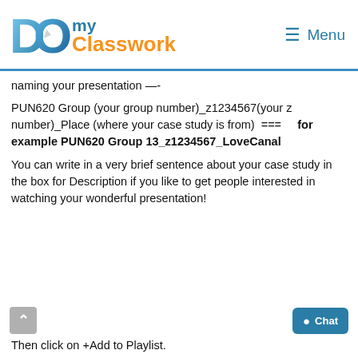[Figure (logo): DoMyClasswork logo with blue D and O letters and orange Classwork text]
≡ Menu
naming your presentation —-
PUN620 Group (your group number)_z1234567(your z number)_Place (where your case study is from)  ===    for example PUN620 Group 13_z1234567_LoveCanal
You can write in a very brief sentence about your case study in the box for Description if you like to get people interested in watching your wonderful presentation!
Then click on +Add to Playlist.